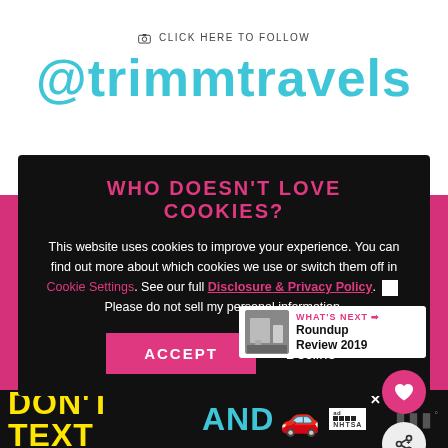CLICK HERE TO FOLLOW
@trimmtravels
WHO DOESN'T LOVE COOKIES?
This website uses cookies to improve your experience. You can find out more about which cookies we use or switch them off in Cookie Settings. See our full Disclosure & Privacy Policy. Please do not sell my personal information.
ACCEPT   Decline
WHAT'S NEXT → Roundup Review 2019
EXCLUSIVE MEMBER OF MEDIAVINE TRAVEL
[Figure (screenshot): Ad banner: DON'T TEXT AND [car emoji] ad with NHTSA badge and close button]